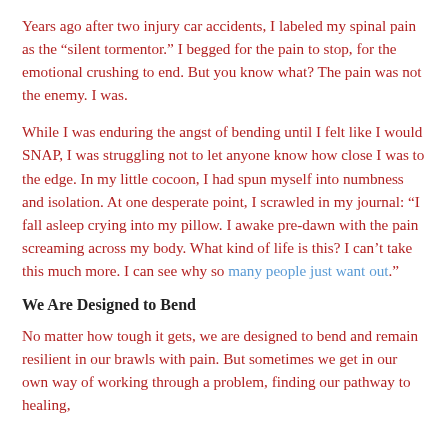Years ago after two injury car accidents, I labeled my spinal pain as the “silent tormentor.” I begged for the pain to stop, for the emotional crushing to end. But you know what? The pain was not the enemy. I was.
While I was enduring the angst of bending until I felt like I would SNAP, I was struggling not to let anyone know how close I was to the edge. In my little cocoon, I had spun myself into numbness and isolation. At one desperate point, I scrawled in my journal: “I fall asleep crying into my pillow. I awake pre-dawn with the pain screaming across my body. What kind of life is this? I can’t take this much more. I can see why so many people just want out.”
We Are Designed to Bend
No matter how tough it gets, we are designed to bend and remain resilient in our brawls with pain. But sometimes we get in our own way of working through a problem, finding our pathway to healing,